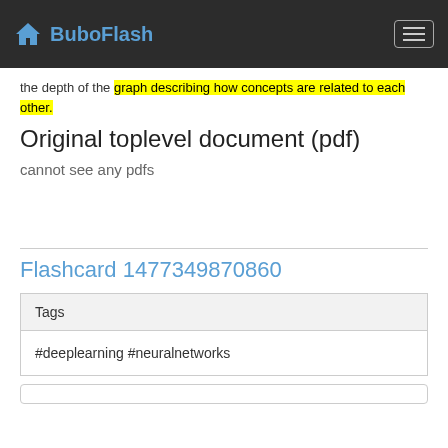BuboFlash
the depth of the graph describing how concepts are related to each other.
Original toplevel document (pdf)
cannot see any pdfs
Flashcard 1477349870860
| Tags |
| --- |
| #deeplearning #neuralnetworks |